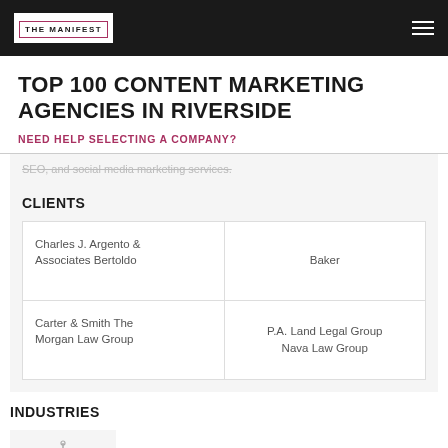THE MANIFEST
TOP 100 CONTENT MARKETING AGENCIES IN RIVERSIDE
NEED HELP SELECTING A COMPANY?
SEO, and social media marketing services.
CLIENTS
|  |  |
| --- | --- |
| Charles J. Argento & Associates Bertoldo | Baker |
| Carter & Smith The Morgan Law Group | P.A. Land Legal Group Nava Law Group |
INDUSTRIES
[Figure (illustration): Legal scales icon]